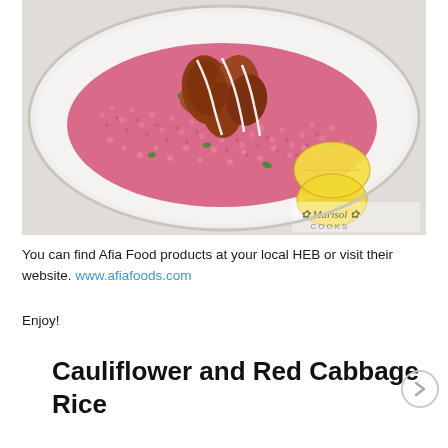[Figure (photo): A white plate with pink/purple cauliflower and red cabbage rice, topped with golden-brown fried falafel or similar fritters drizzled with white sauce, garnished with lemon wedges and fresh cilantro. A watermark reads 'Marisol Cooks' in the lower right.]
You can find Afia Food products at your local HEB or visit their website. www.afiafoods.com
Enjoy!
Cauliflower and Red Cabbage Rice